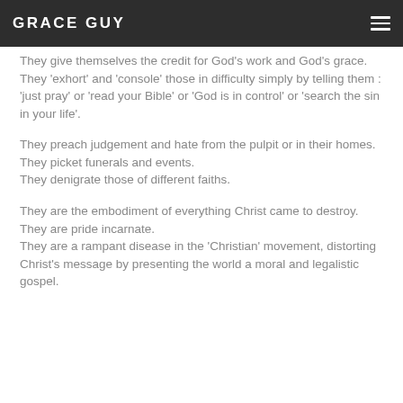GRACE GUY
They give themselves the credit for God's work and God's grace.
They 'exhort' and 'console' those in difficulty simply by telling them : 'just pray' or 'read your Bible' or 'God is in control' or 'search the sin in your life'.
They preach judgement and hate from the pulpit or in their homes.
They picket funerals and events.
They denigrate those of different faiths.
They are the embodiment of everything Christ came to destroy.
They are pride incarnate.
They are a rampant disease in the 'Christian' movement, distorting Christ's message by presenting the world a moral and legalistic gospel.